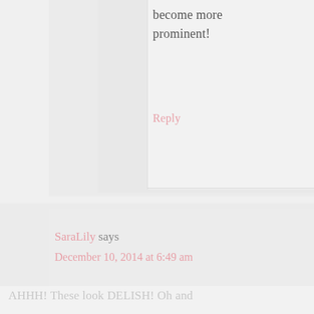become more prominent!
Reply
SaraLily says
December 10, 2014 at 6:49 am
AHHH! These look DELISH! Oh and